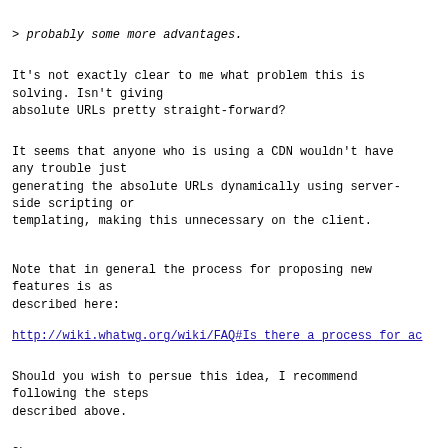> probably some more advantages.
It's not exactly clear to me what problem this is
solving. Isn't giving
absolute URLs pretty straight-forward?
It seems that anyone who is using a CDN wouldn't have
any trouble just
generating the absolute URLs dynamically using server-
side scripting or
templating, making this unnecessary on the client.
Note that in general the process for proposing new
features is as
described here:
http://wiki.whatwg.org/wiki/FAQ#Is_there_a_process_for_ac
Should you wish to persue this idea, I recommend
following the steps
described above.
Cheers,
--
Ian Hickson                     U+1047E
)\._.,--.....,'``.    fL
http://ln.hixie.ch/             U+263A                 /,